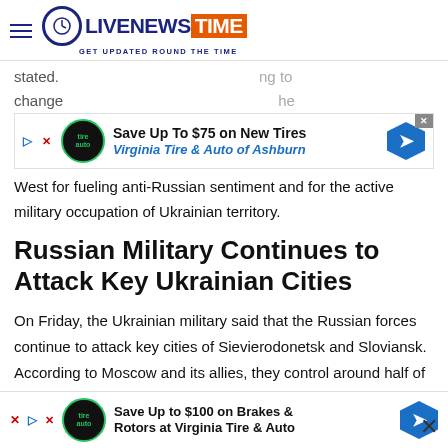LIVENEWS TIME — GET UPDATED ROUND THE TIME
[Figure (infographic): Advertisement banner: Save Up To $75 on New Tires — Virginia Tire & Auto of Ashburn]
stated. ...ng to change... ...he West for fueling anti-Russian sentiment and for the active military occupation of Ukrainian territory.
Russian Military Continues to Attack Key Ukrainian Cities
On Friday, the Ukrainian military said that the Russian forces continue to attack key cities of Sievierodonetsk and Sloviansk. According to Moscow and its allies, they control around half of Donetsk and approximately all of Luhansk; both regions collaborate to make the Donbas region. Moreover, Sievierodonetsk and corresponding villages are in
[Figure (infographic): Advertisement banner: Save Up to $100 on Brakes & Rotors at Virginia Tire & Auto]